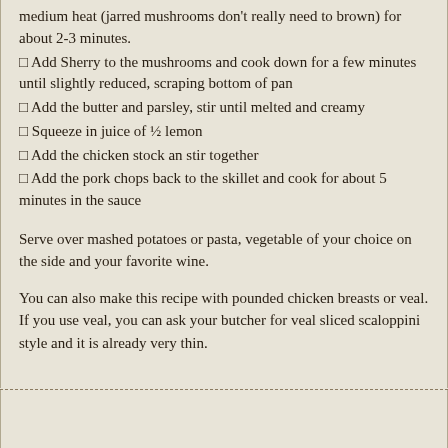medium heat (jarred mushrooms don't really need to brown) for about 2-3 minutes.
Add Sherry to the mushrooms and cook down for a few minutes until slightly reduced, scraping bottom of pan
Add the butter and parsley, stir until melted and creamy
Squeeze in juice of ½ lemon
Add the chicken stock an stir together
Add the pork chops back to the skillet and cook for about 5 minutes in the sauce
Serve over mashed potatoes or pasta, vegetable of your choice on the side and your favorite wine.
You can also make this recipe with pounded chicken breasts or veal. If you use veal, you can ask your butcher for veal sliced scaloppini style and it is already very thin.